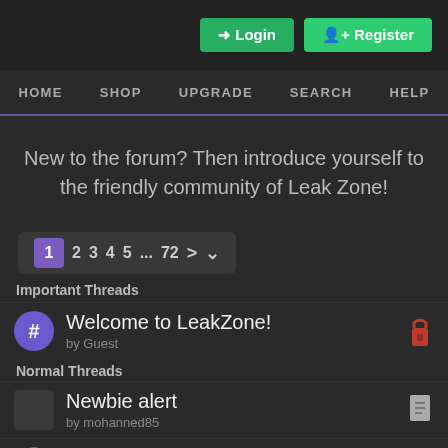Login | Register | HOME | SHOP | UPGRADE | SEARCH | HELP
New to the forum? Then introduce yourself to the friendly community of Leak Zone!
1 2 3 4 5 ... 72 > v
Important Threads
Welcome to LeakZone!
by Guest
Normal Threads
Newbie alert
by mohanned85
thumbs up for this site
by dgaflmao